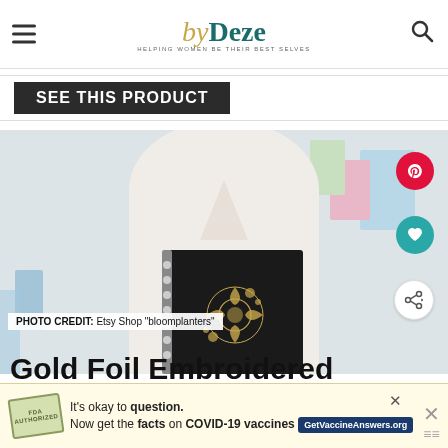byDeze — HELPING WOMEN BE THEIR BEST SELVES
SEE THIS PRODUCT
[Figure (photo): Person in white sweater holding a black spiral notebook with gold foil embroidered floral design. Colorful art prints visible in background.]
PHOTO CREDIT: Etsy Shop "bloomplanters"
Gold Foil Embroidered Pl…
It's okay to question. Now get the facts on COVID-19 vaccines GetVaccineAnswers.org